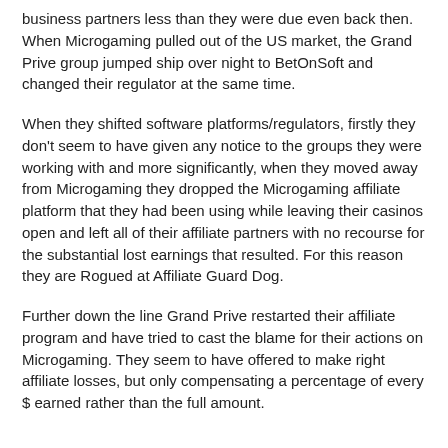business partners less than they were due even back then. When Microgaming pulled out of the US market, the Grand Prive group jumped ship over night to BetOnSoft and changed their regulator at the same time.
When they shifted software platforms/regulators, firstly they don't seem to have given any notice to the groups they were working with and more significantly, when they moved away from Microgaming they dropped the Microgaming affiliate platform that they had been using while leaving their casinos open and left all of their affiliate partners with no recourse for the substantial lost earnings that resulted. For this reason they are Rogued at Affiliate Guard Dog.
Further down the line Grand Prive restarted their affiliate program and have tried to cast the blame for their actions on Microgaming. They seem to have offered to make right affiliate losses, but only compensating a percentage of every $ earned rather than the full amount.